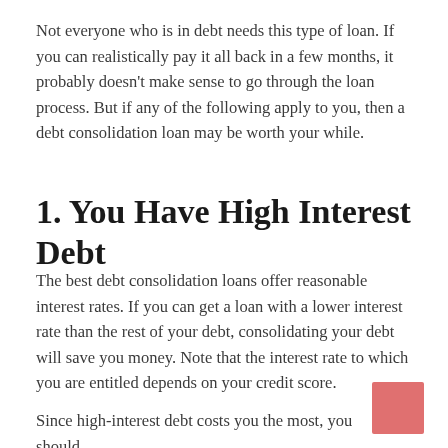Not everyone who is in debt needs this type of loan. If you can realistically pay it all back in a few months, it probably doesn't make sense to go through the loan process. But if any of the following apply to you, then a debt consolidation loan may be worth your while.
1. You Have High Interest Debt
The best debt consolidation loans offer reasonable interest rates. If you can get a loan with a lower interest rate than the rest of your debt, consolidating your debt will save you money. Note that the interest rate to which you are entitled depends on your credit score.
Since high-interest debt costs you the most, you should consolidate it as soon as possible by acting on...